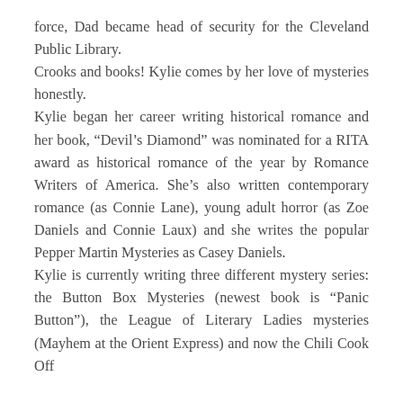force, Dad became head of security for the Cleveland Public Library.
Crooks and books! Kylie comes by her love of mysteries honestly.
Kylie began her career writing historical romance and her book, “Devil’s Diamond” was nominated for a RITA award as historical romance of the year by Romance Writers of America. She’s also written contemporary romance (as Connie Lane), young adult horror (as Zoe Daniels and Connie Laux) and she writes the popular Pepper Martin Mysteries as Casey Daniels.
Kylie is currently writing three different mystery series: the Button Box Mysteries (newest book is “Panic Button”), the League of Literary Ladies mysteries (Mayhem at the Orient Express) and now the Chili Cook Off